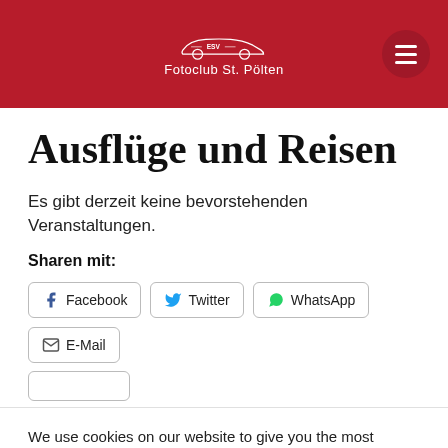[Figure (logo): ESV Fotoclub St. Pölten logo with car silhouette on red header bar, with hamburger menu button on the right]
Ausflüge und Reisen
Es gibt derzeit keine bevorstehenden Veranstaltungen.
Sharen mit:
Facebook  Twitter  WhatsApp  E-Mail (share buttons)
We use cookies on our website to give you the most relevant experience by remembering your preferences and repeat visits. By clicking "Accept All", you consent to the use of ALL the cookies. However, you may visit "Cookie Settings" to provide a controlled consent.
Cookie Settings  Accept All